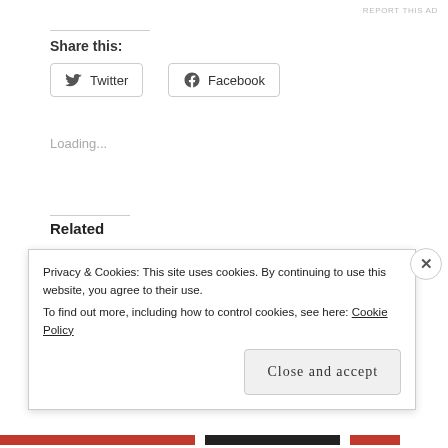Share this:
[Figure (other): Twitter share button with bird icon]
[Figure (other): Facebook share button with F icon]
Loading...
Related
Wardrobe Essentials: Japanese Styles for Everyday
Wardrobe Essentials: Make it Easy Simplicity 1620 and Sew Chic
Privacy & Cookies: This site uses cookies. By continuing to use this website, you agree to their use. To find out more, including how to control cookies, see here: Cookie Policy
Close and accept